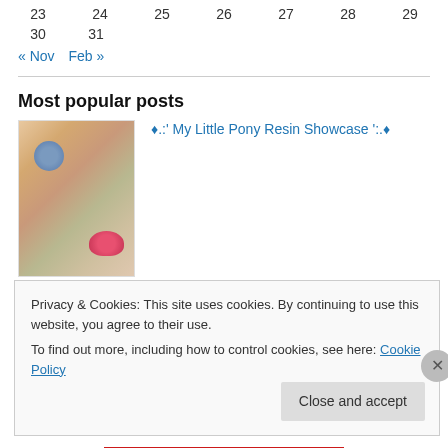| 23 | 24 | 25 | 26 | 27 | 28 | 29 |
| 30 | 31 |  |  |  |  |  |
« Nov   Feb »
Most popular posts
[Figure (photo): Thumbnail image of My Little Pony items, colorful toy display]
♦.:' My Little Pony Resin Showcase ':.♦
Privacy & Cookies: This site uses cookies. By continuing to use this website, you agree to their use.
To find out more, including how to control cookies, see here: Cookie Policy
Close and accept